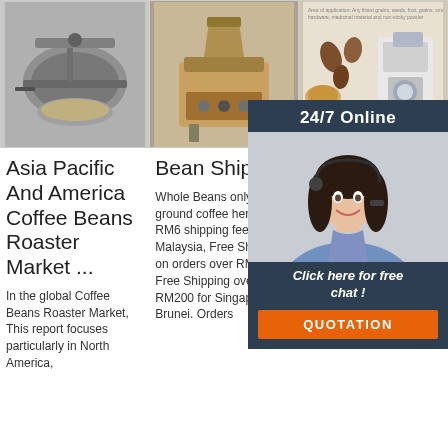[Figure (photo): Coffee roaster machine - close up of drum/tray, stainless steel]
[Figure (photo): Small coffee bean roaster machine, bronze/gold colored, tabletop model]
[Figure (photo): Coffee grinder/bean processor product image with various coffee beans and grains shown]
Asia Pacific And America Coffee Beans Roaster Market ...
Bean Shipper
Don Com I 12 Coff Roa Auto Gas
In the global Coffee Beans Roaster Market, This report focuses particularly in North America,
Whole Beans only, see all ground coffee here Flat RM6 shipping fee within Malaysia, Free Shipping on orders over RM80. Free Shipping over RM200 for Singapore & Brunei. Orders
DY and by series coffee roasters. DY models are avilable in 1kg, 2kg, 3kg, 6kg, 12kg, 20kg, 30kg, 60kg, 120kg etc.
[Figure (photo): 24/7 online chat widget with customer service agent photo and QUOTATION button]